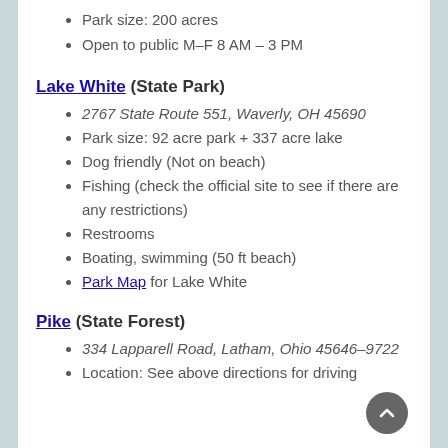Park size: 200 acres
Open to public M–F 8 AM – 3 PM
Lake White (State Park)
2767 State Route 551, Waverly, OH 45690
Park size: 92 acre park + 337 acre lake
Dog friendly (Not on beach)
Fishing (check the official site to see if there are any restrictions)
Restrooms
Boating, swimming (50 ft beach)
Park Map for Lake White
Pike (State Forest)
334 Lapparell Road, Latham, Ohio 45646–9722
Location: See above directions for driving...